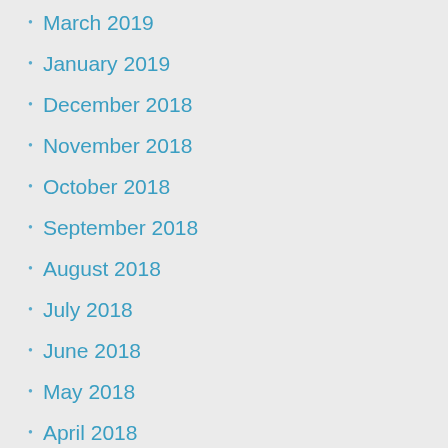March 2019
January 2019
December 2018
November 2018
October 2018
September 2018
August 2018
July 2018
June 2018
May 2018
April 2018
March 2018
February 2018
January 2018
December 2017
November 2017
October 2017
September 2017